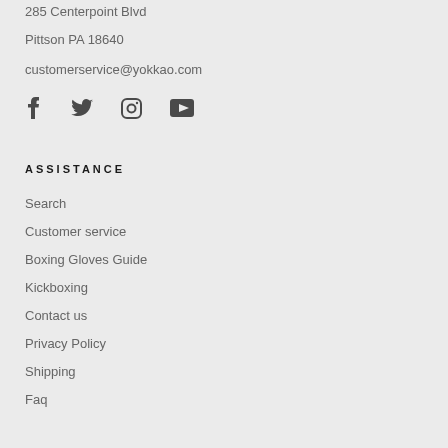285 Centerpoint Blvd
Pittson PA 18640
customerservice@yokkao.com
[Figure (infographic): Social media icons: Facebook, Twitter, Instagram, YouTube]
ASSISTANCE
Search
Customer service
Boxing Gloves Guide
Kickboxing
Contact us
Privacy Policy
Shipping
Faq